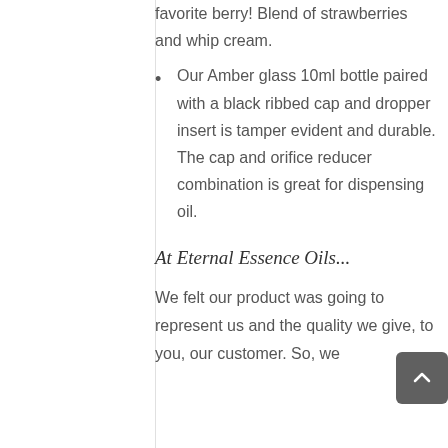favorite berry! Blend of strawberries and whip cream.
Our Amber glass 10ml bottle paired with a black ribbed cap and dropper insert is tamper evident and durable. The cap and orifice reducer combination is great for dispensing oil.
At Eternal Essence Oils...
We felt our product was going to represent us and the quality we give, to you, our customer. So, we